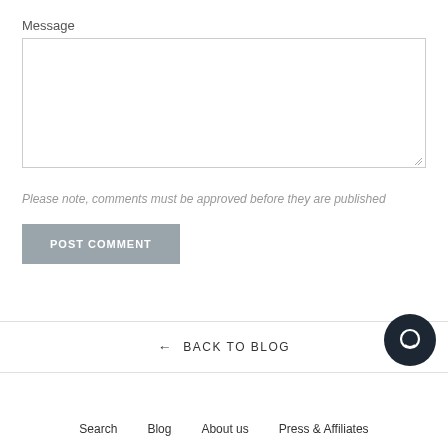Message
Please note, comments must be approved before they are published
POST COMMENT
← BACK TO BLOG
Search   Blog   About us   Press & Affiliates